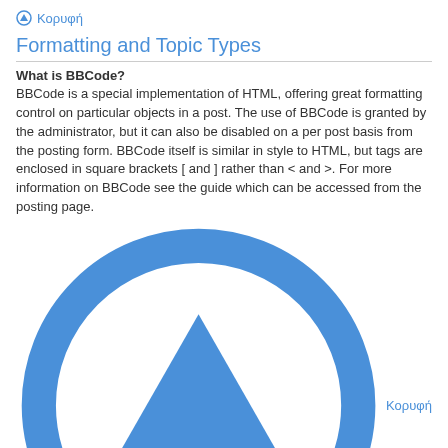Κορυφή
Formatting and Topic Types
What is BBCode?
BBCode is a special implementation of HTML, offering great formatting control on particular objects in a post. The use of BBCode is granted by the administrator, but it can also be disabled on a per post basis from the posting form. BBCode itself is similar in style to HTML, but tags are enclosed in square brackets [ and ] rather than < and >. For more information on BBCode see the guide which can be accessed from the posting page.
Κορυφή
Can I use HTML?
No. It is not possible to post HTML on this board and have it rendered as HTML. Most formatting which can be carried out using HTML can be applied using BBCode instead.
Κορυφή
What are Smilies?
Smilies, or Emoticons, are small images which can be used to express a feeling using a short code, e.g. :) denotes happy, while :( denotes sad. The full list of